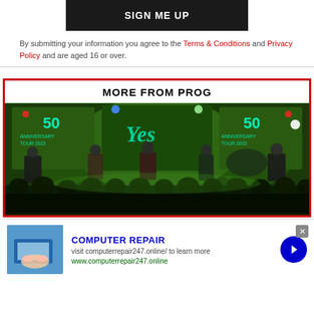SIGN ME UP
By submitting your information you agree to the Terms & Conditions and Privacy Policy and are aged 16 or over.
MORE FROM PROG
[Figure (photo): Concert photo showing a band performing on stage with a large '50 Anniversary Tour 2022' display and audience silhouettes in the foreground.]
[Figure (advertisement): Ad banner for Computer Repair: 'COMPUTER REPAIR - visit computerrepair247.online/ to learn more - www.computerrepair247.online' with thumbnail of hands on laptop and arrow button.]